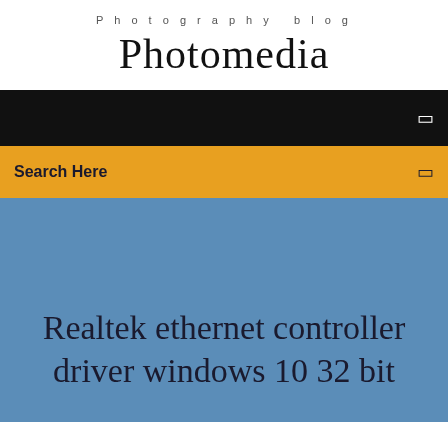Photography blog
Photomedia
Search Here
Realtek ethernet controller driver windows 10 32 bit